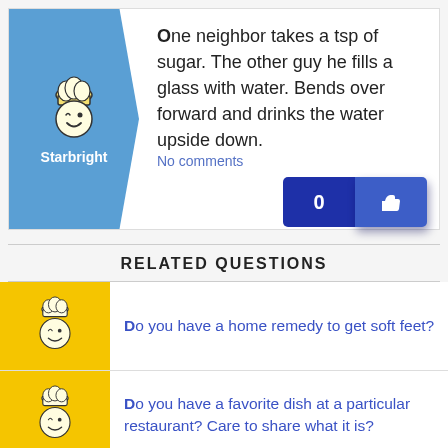[Figure (illustration): User avatar of Starbright: cartoon smiley face with winking eye and chef hat on blue background panel with arrow chevron]
One neighbor takes a tsp of sugar. The other guy he fills a glass with water. Bends over forward and drinks the water upside down.
No comments
RELATED QUESTIONS
[Figure (illustration): Yellow square avatar with cartoon smiley face chef]
Do you have a home remedy to get soft feet?
[Figure (illustration): Yellow square avatar with cartoon smiley face chef]
Do you have a favorite dish at a particular restaurant? Care to share what it is?
[Figure (illustration): Yellow square avatar with cartoon smiley face chef (partially visible)]
Would you rather have the